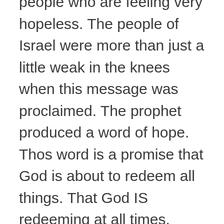people who are feeling very hopeless. The people of Israel were more than just a little weak in the knees when this message was proclaimed. The prophet produced a word of hope. Thos word is a promise that God is about to redeem all things. That God IS redeeming at all times. There is even a promise or praise and celebration for those who have languished in mourning. I think in many ways today we are captives and we need to be set free. The Israelites wanted freedom from their oppressive and slave-ridden reality. We have been held hostage for a long time by consumerist thinking. We need to be set free from this state of bondage. Perhaps now in this day when it